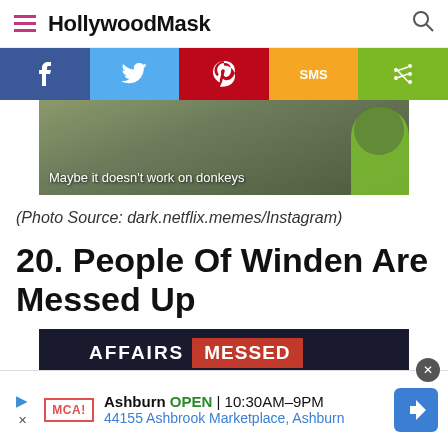HollywoodMask
[Figure (screenshot): Social sharing bar with Facebook, Twitter, Pinterest, SMS, and Share buttons]
[Figure (photo): Partially visible image with caption overlay: 'Maybe it doesn't work on donkeys', showing green character on right side]
(Photo Source: dark.netflix.memes/Instagram)
20. People Of Winden Are Messed Up
[Figure (photo): Bottom portion of article image showing text 'AFFAIRS' and 'MESSED' on dark background]
Ashburn OPEN | 10:30AM–9PM 44155 Ashbrook Marketplace, Ashburn